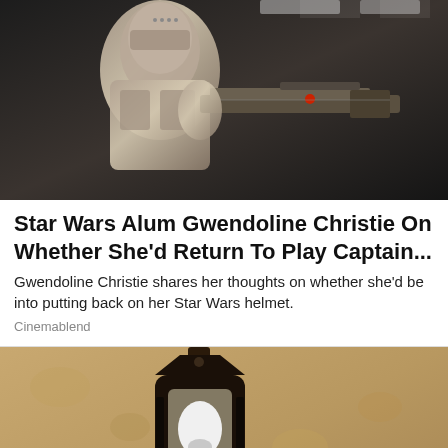[Figure (photo): A metallic stormtrooper or robot figure holding a futuristic weapon/gun, with a dark sci-fi background and glowing ceiling lights]
Star Wars Alum Gwendoline Christie On Whether She'd Return To Play Captain...
Gwendoline Christie shares her thoughts on whether she'd be into putting back on her Star Wars helmet.
Cinemablend
[Figure (photo): An outdoor lantern/light fixture mounted on a textured stucco wall, with warm brown tones]
[Figure (photo): Advertisement banner: Official NFL Gear - Get Your Favorite Team's Gear Here - www.nflshop.com, with NFL jersey thumbnail and navigation arrow button]